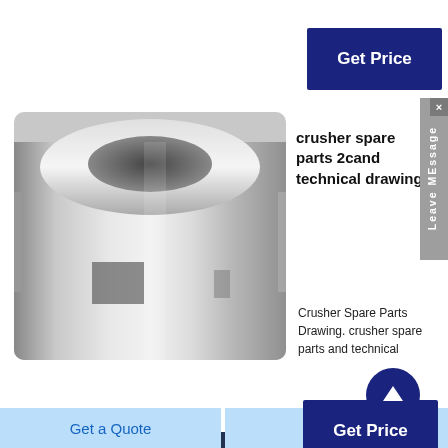[Figure (other): Dark navy blue button labeled Get Price]
[Figure (photo): Metallic cylindrical crusher spare part with rectangular cutout slots, shown in close-up]
crusher spare parts 2cand technical drawings
Crusher Spare Parts Drawing. crusher spare parts and technical
[Figure (other): Dark navy blue button labeled Get Price]
[Figure (photo): Dark blue/navy image partially visible at bottom left]
Technical Drawings Of The Rock
[Figure (other): Gray sidebar with X close button and vertical text 'Leave MEssage']
[Figure (other): Circular dark blue button with upward arrow icon]
Get a Quote
Chat Now